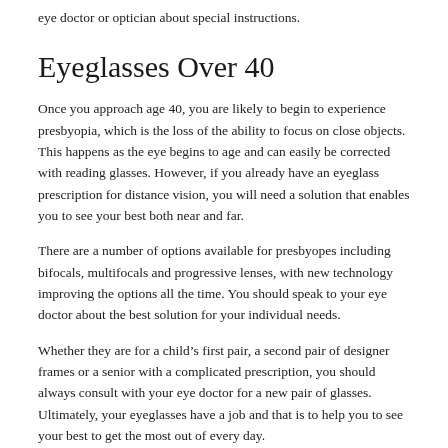eye doctor or optician about special instructions.
Eyeglasses Over 40
Once you approach age 40, you are likely to begin to experience presbyopia, which is the loss of the ability to focus on close objects. This happens as the eye begins to age and can easily be corrected with reading glasses. However, if you already have an eyeglass prescription for distance vision, you will need a solution that enables you to see your best both near and far.
There are a number of options available for presbyopes including bifocals, multifocals and progressive lenses, with new technology improving the options all the time. You should speak to your eye doctor about the best solution for your individual needs.
Whether they are for a child’s first pair, a second pair of designer frames or a senior with a complicated prescription, you should always consult with your eye doctor for a new pair of glasses. Ultimately, your eyeglasses have a job and that is to help you to see your best to get the most out of every day.